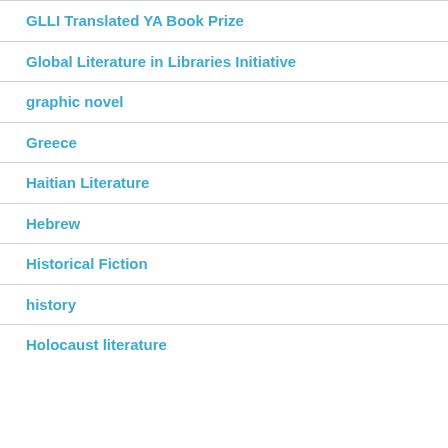GLLI Translated YA Book Prize
Global Literature in Libraries Initiative
graphic novel
Greece
Haitian Literature
Hebrew
Historical Fiction
history
Holocaust literature